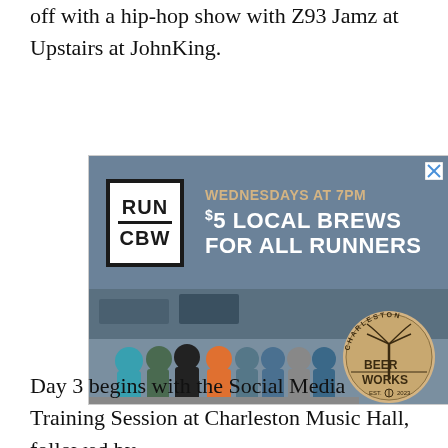off with a hip-hop show with Z93 Jamz at Upstairs at JohnKing.
[Figure (infographic): Advertisement for Run CBW (Charleston Beer Works). Top section has steel-blue background with RUN CBW logo in a bordered box on the left, and text 'WEDNESDAYS AT 7PM / $5 LOCAL BREWS / FOR ALL RUNNERS' on the right in gold and white. Bottom section shows a group photo of runners outside Charleston Beer Works with the circular Charleston Beer Works Est. 2023 logo overlaid on the right side.]
Day 3 begins with the Social Media Training Session at Charleston Music Hall, followed by